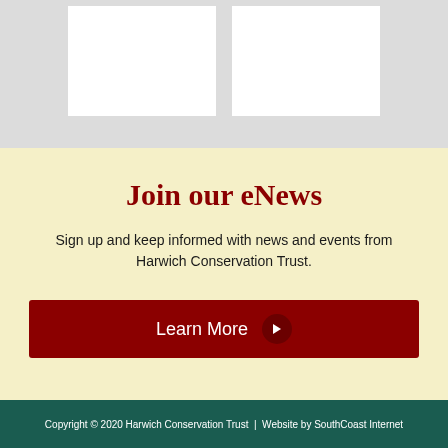[Figure (other): Two white rectangular placeholder boxes on a light gray background]
Join our eNews
Sign up and keep informed with news and events from Harwich Conservation Trust.
Learn More →
Copyright © 2020 Harwich Conservation Trust  |  Website by SouthCoast Internet